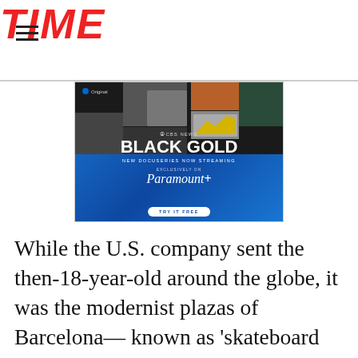TIME
[Figure (advertisement): Paramount+ ad for CBS News 'Black Gold' docuseries. Shows collage of news imagery, CBS News logo, BLACK GOLD title, NEW DOCUSERIES NOW STREAMING text, Paramount+ logo, EXCLUSIVELY ON, and TRY IT FREE button. Blue and black background.]
While the U.S. company sent the then-18-year-old around the globe, it was the modernist plazas of Barcelona— known as 'skateboard Mecca' for their